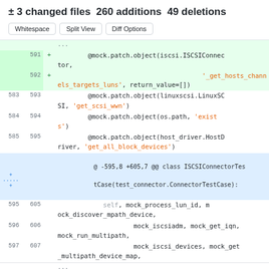± 3 changed files 260 additions 49 deletions
[Figure (screenshot): Diff view with Whitespace, Split View, Diff Options buttons and code diff showing added/changed lines in a Python test file with line numbers 583-607]
591 + @mock.patch.object(iscsi.ISCSIConnector,
592 + '_get_hosts_channels_targets_luns', return_value=[])
583 593     @mock.patch.object(linuxscsi.LinuxSCSI, 'get_scsi_wwn')
584 594     @mock.patch.object(os.path, 'exists')
585 595     @mock.patch.object(host_driver.HostDriver, 'get_all_block_devices')
@ -595,8 +605,7 @@ class ISCSIConnectorTestCase(test_connector.ConnectorTestCase):
595 605         self, mock_process_lun_id, mock_discover_mpath_device,
596 606                 mock_iscsiadm, mock_get_iqn, mock_run_multipath,
597 607                 mock_iscsi_devices, mock_get_multipath_device_map,